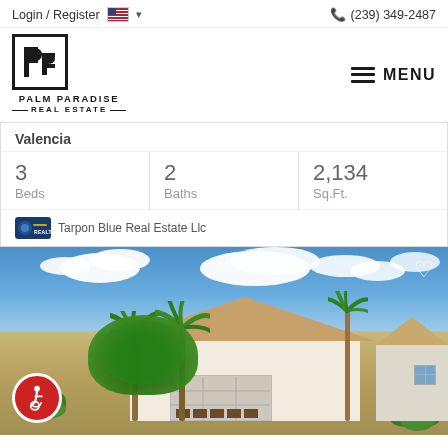Login / Register  (239) 349-2487
[Figure (logo): Palm Paradise Real Estate logo with stylized PP in a square frame, PALM PARADISE REAL ESTATE text below]
MENU
Valencia
| Beds | Baths | Sq.Ft. |
| --- | --- | --- |
| 3 | 2 | 2,134 |
Tarpon Blue Real Estate Llc
[Figure (photo): Exterior photo of a single-story Florida home with tile roof, two-car garage, tropical palm trees, blue sky with white clouds. Accessibility icon in bottom left corner, heart/favorite icon in top right corner.]